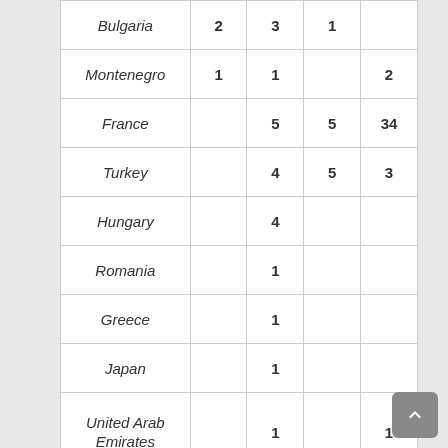| Country | Col1 | Col2 | Col3 | Col4 |
| --- | --- | --- | --- | --- |
| Bulgaria | 2 | 3 | 1 |  |
| Montenegro | 1 | 1 |  | 2 |
| France |  | 5 | 5 | 34 |
| Turkey |  | 4 | 5 | 3 |
| Hungary |  | 4 |  |  |
| Romania |  | 1 |  |  |
| Greece |  | 1 |  |  |
| Japan |  | 1 |  |  |
| United Arab Emirates |  | 1 |  | 1 |